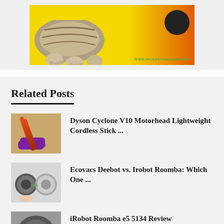[Figure (photo): Banner image with a cat on a yellow-green and orange background with a robot vacuum. URL www.pickpetvacuum.com shown in green text.]
Related Posts
[Figure (photo): Thumbnail image of a Dyson stick vacuum on a wooden floor]
Dyson Cyclone V10 Motorhead Lightweight Cordless Stick ...
[Figure (photo): Thumbnail image showing Ecovacs Deebot vs iRobot Roomba robot vacuums]
Ecovacs Deebot vs. Irobot Roomba: Which One ...
[Figure (photo): Thumbnail image of iRobot Roomba e5 5134]
iRobot Roomba e5 5134 Review